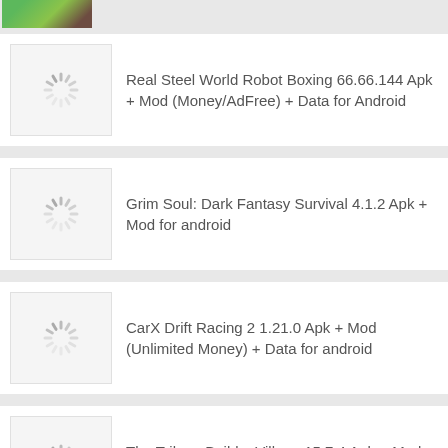[Figure (screenshot): Top partial banner with green/brown game icon thumbnail]
Real Steel World Robot Boxing 66.66.144 Apk + Mod (Money/AdFree) + Data for Android
Grim Soul: Dark Fantasy Survival 4.1.2 Apk + Mod for android
CarX Drift Racing 2 1.21.0 Apk + Mod (Unlimited Money) + Data for android
The Tribez: Build a Village 15.7.4 Apk + Mod (Unlimited money) for andorid
Trivia Crack (No Ads) 3.170.0 Apk (Paid) + Mod for